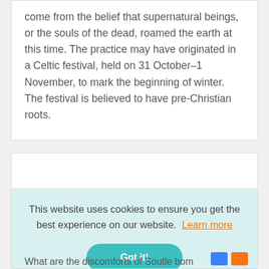come from the belief that supernatural beings, or the souls of the dead, roamed the earth at this time. The practice may have originated in a Celtic festival, held on 31 October–1 November, to mark the beginning of winter. The festival is believed to have pre-Christian roots.
This website uses cookies to ensure you get the best experience on our website.  Learn more
Got it!
What are the discomforts of Soutle bom